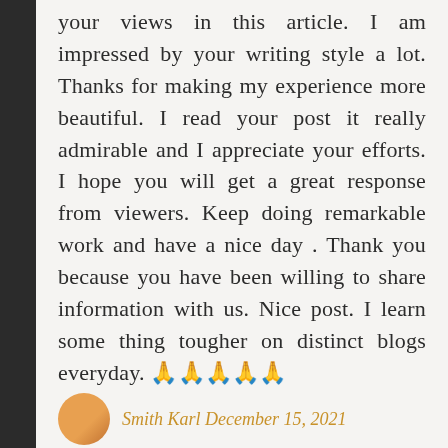... and the way you impress your views in this article. I am impressed by your writing style a lot. Thanks for making my experience more beautiful. I read your post it really admirable and I appreciate your efforts. I hope you will get a great response from viewers. Keep doing remarkable work and have a nice day . Thank you because you have been willing to share information with us. Nice post. I learn some thing tougher on distinct blogs everyday. 🙏🙏🙏🙏🙏
Reply
Smith Karl December 15, 2021